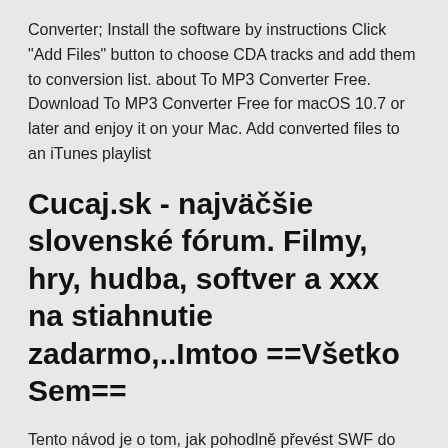Converter; Install the software by instructions Click "Add Files" button to choose CDA tracks and add them to conversion list. about To MP3 Converter Free. Download To MP3 Converter Free for macOS 10.7 or later and enjoy it on your Mac. Add converted files to an iTunes playlist
Cucaj.sk - najväčšie slovenské fórum. Filmy, hry, hudba, softver a xxx na stiahnutie zadarmo,..Imtoo ==Všetko Sem==
Tento návod je o tom, jak pohodlně převést SWF do formátu MP3, který si můžete vychutnat soubory MP3 na vašem iPhone, Android telefonu nebo MP3 přehrávačích na cestách. Cucaj.sk - najväčšie slovenské fórum. Filmy, hry, hudba, softver a xxx na